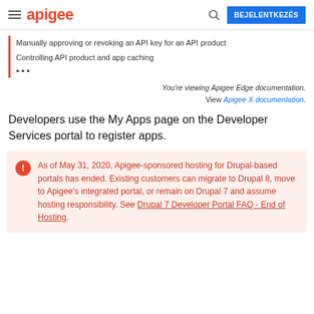apigee | BEJELENTKEZÉS
Manually approving or revoking an API key for an API product
Controlling API product and app caching
•••
You're viewing Apigee Edge documentation. View Apigee X documentation.
Developers use the My Apps page on the Developer Services portal to register apps.
As of May 31, 2020, Apigee-sponsored hosting for Drupal-based portals has ended. Existing customers can migrate to Drupal 8, move to Apigee's integrated portal, or remain on Drupal 7 and assume hosting responsibility. See Drupal 7 Developer Portal FAQ - End of Hosting.